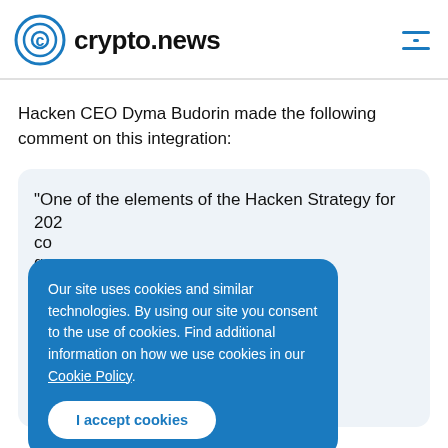crypto.news
Hacken CEO Dyma Budorin made the following comment on this integration:
"One of the elements of the Hacken Strategy for 202... co... go... the... str... co...
Our site uses cookies and similar technologies. By using our site you consent to the use of cookies. Find additional information on how we use cookies in our Cookie Policy.